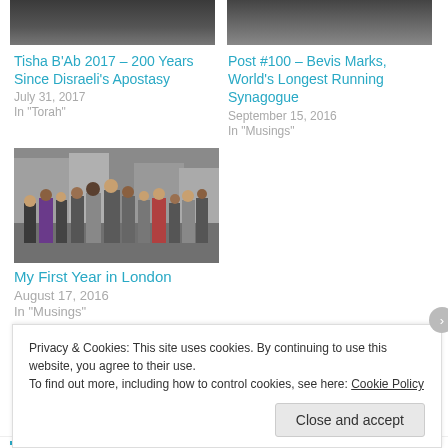[Figure (photo): Top partial image left - dark photo cropped at top]
[Figure (photo): Top partial image right - dark photo cropped at top]
Tisha B'Ab 2017 – 200 Years Since Disraeli's Apostasy
July 31, 2017
In "Torah"
Post #100 – Bevis Marks, World's Longest Running Synagogue
September 15, 2016
In "Musings"
[Figure (photo): Crowd of people walking on a city street in London]
My First Year in London
August 17, 2016
In "Musings"
Privacy & Cookies: This site uses cookies. By continuing to use this website, you agree to their use.
To find out more, including how to control cookies, see here: Cookie Policy
Close and accept